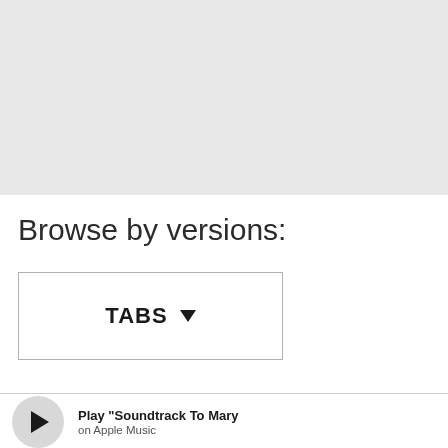[Figure (other): Gray rectangular banner area at the top of the page, serving as a placeholder or image region]
Browse by versions:
TABS ▼
Play "Soundtrack To Mary" on Apple Music